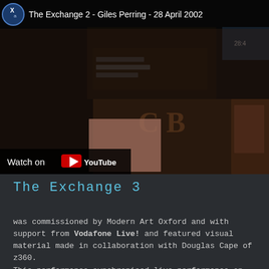[Figure (screenshot): YouTube video thumbnail for 'The Exchange 2 - Giles Perring - 28 April 2002'. Shows a collage of concert footage with a YouTube play button in the centre and a 'Watch on YouTube' bar at the bottom left.]
The Exchange 3
was commissioned by Modern Art Oxford and with support from Vodafone Live! and featured visual material made in collaboration with Douglas Cape of z360.
This performance synchronised live performance on